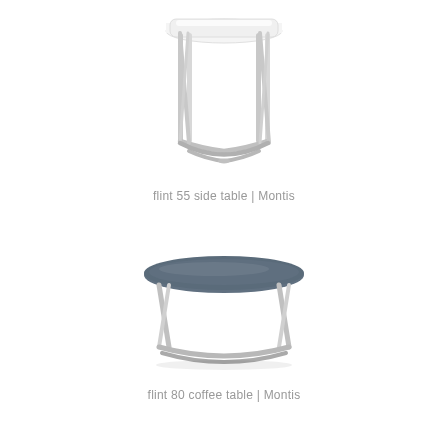[Figure (photo): Flint 55 side table by Montis — a tall side table with a white octagonal/rounded top and chrome tubular crossed-leg base]
flint 55 side table | Montis
[Figure (photo): Flint 80 coffee table by Montis — a wide low coffee table with a dark grey/slate round top and chrome tubular crossed-leg base]
flint 80 coffee table | Montis